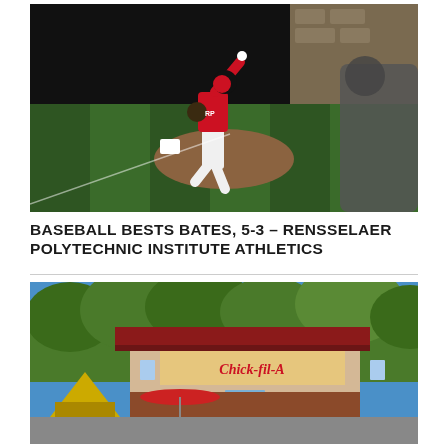[Figure (photo): Baseball pitcher in red RPI uniform number 42 throwing a pitch on a baseball field, with a batter visible in the foreground blurred]
BASEBALL BESTS BATES, 5-3 – RENSSELAER POLYTECHNIC INSTITUTE ATHLETICS
[Figure (photo): Exterior of a Chick-fil-A restaurant with trees in background, a tent and red umbrella visible in the foreground]